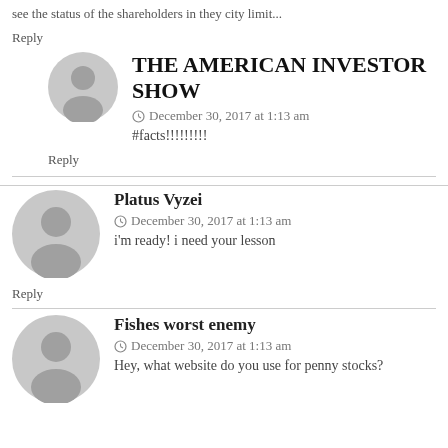see the status of the shareholders in they city limit...
Reply
THE AMERICAN INVESTOR SHOW
December 30, 2017 at 1:13 am
#facts!!!!!!!!!
Reply
Platus Vyzei
December 30, 2017 at 1:13 am
i'm ready! i need your lesson
Reply
Fishes worst enemy
December 30, 2017 at 1:13 am
Hey, what website do you use for penny stocks?